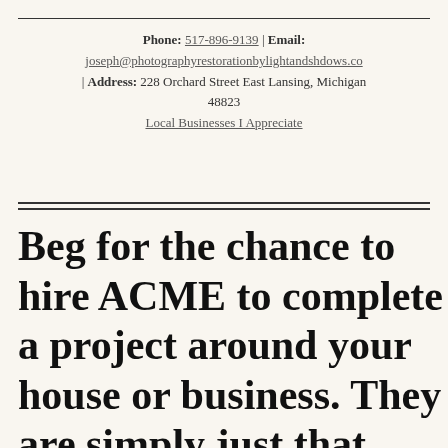Phone: 517-896-9139 | Email: joseph@photographyrestorationbylightandshdows.com | Address: 228 Orchard Street East Lansing, Michigan 48823
Local Businesses I Appreciate
Beg for the chance to hire ACME to complete a project around your house or business. They are simply just that good, and